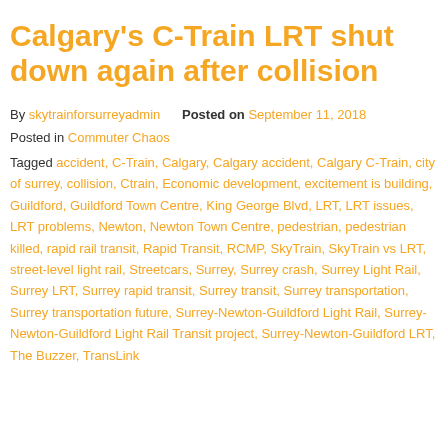Calgary's C-Train LRT shut down again after collision
By skytrainforsurreyadmin   Posted on September 11, 2018
Posted in Commuter Chaos
Tagged accident, C-Train, Calgary, Calgary accident, Calgary C-Train, city of surrey, collision, Ctrain, Economic development, excitement is building, Guildford, Guildford Town Centre, King George Blvd, LRT, LRT issues, LRT problems, Newton, Newton Town Centre, pedestrian, pedestrian killed, rapid rail transit, Rapid Transit, RCMP, SkyTrain, SkyTrain vs LRT, street-level light rail, Streetcars, Surrey, Surrey crash, Surrey Light Rail, Surrey LRT, Surrey rapid transit, Surrey transit, Surrey transportation, Surrey transportation future, Surrey-Newton-Guildford Light Rail, Surrey-Newton-Guildford Light Rail Transit project, Surrey-Newton-Guildford LRT, The Buzzer, TransLink